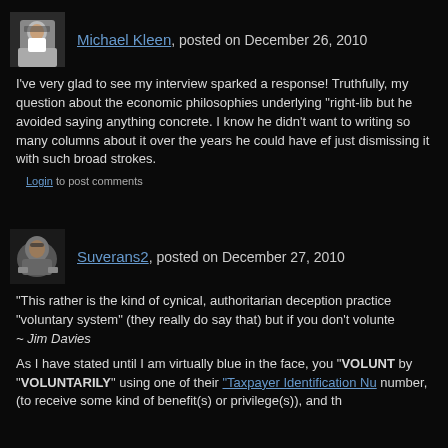[Figure (photo): Avatar/profile photo of Michael Kleen, a man with glasses]
Michael Kleen, posted on December 26, 2010
I've very glad to see my interview sparked a response! Truthfully, my question about the economic philosophies underlying "right-lib but he avoided saying anything concrete. I know he didn't want to writing so many columns about it over the years he could have ef just dismissing it with such broad strokes.
Login to post comments
[Figure (illustration): Avatar/profile image for Suverans2, showing a graphic illustration]
Suverans2, posted on December 27, 2010
“This rather is the kind of cynical, authoritarian deception practice "voluntary system" (they really do say that) but if you don't volunte ~ Jim Davies
As I have stated until I am virtually blue in the face, you "VOLUNT by "VOLUNTARILY" using one of their "Taxpayer Identification Nu number, (to receive some kind of benefit(s) or privilege(s)), and th